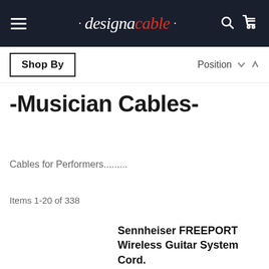designacable
Shop By — Position
-Musician Cables-
Cables for Performers.........
Items 1-20 of 338
Sennheiser FREEPORT Wireless Guitar System Cord. Replacement Angled Cable.